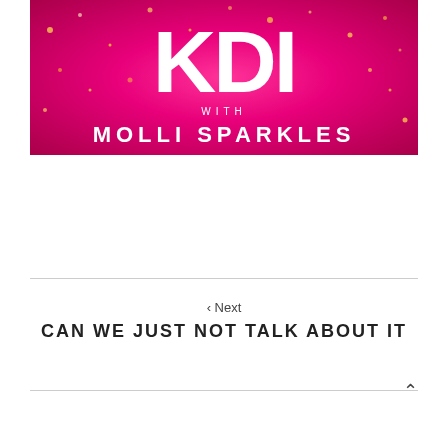[Figure (illustration): Hot pink glittery background with large white bold letters 'KDI' and text 'WITH MOLLI SPARKLES' in white below]
‹ Next
CAN WE JUST NOT TALK ABOUT IT